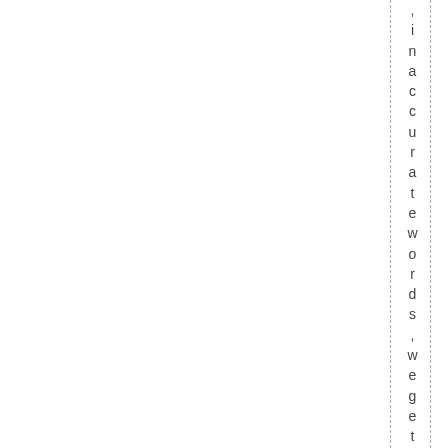, inaccurate words, we gets lo